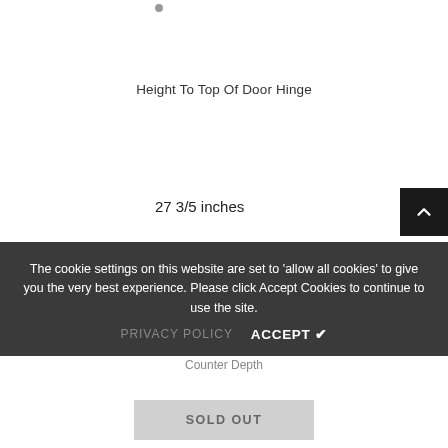Height To Top Of Door Hinge
27 3/5 inches
The cookie settings on this website are set to 'allow all cookies' to give you the very best experience. Please click Accept Cookies to continue to use the site.
PRIVACY POLICY   ACCEPT ✔
Counter Depth
SOLD OUT